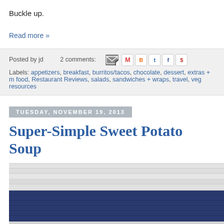Buckle up.
Read more »
Posted by jd    2 comments:
Labels: appetizers, breakfast, burritos/tacos, chocolate, dessert, extras + m food, Restaurant Reviews, salads, sandwiches + wraps, travel, veg resources
TUESDAY, NOVEMBER 19, 2013
Super-Simple Sweet Potato Soup
[Figure (photo): Photo of striped blue and white fabric/dish towel with a bowl of soup partially visible at the bottom right corner]